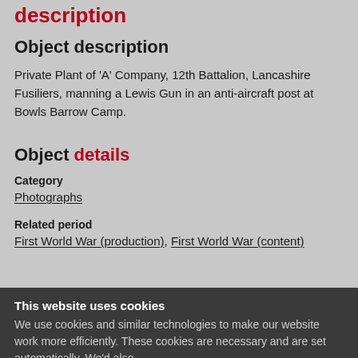description
Object description
Private Plant of 'A' Company, 12th Battalion, Lancashire Fusiliers, manning a Lewis Gun in an anti-aircraft post at Bowls Barrow Camp.
Object details
Category
Photographs
Related period
First World War (production), First World War (content)
This website uses cookies
We use cookies and similar technologies to make our website work more efficiently. These cookies are necessary and are set automatically. We'd also